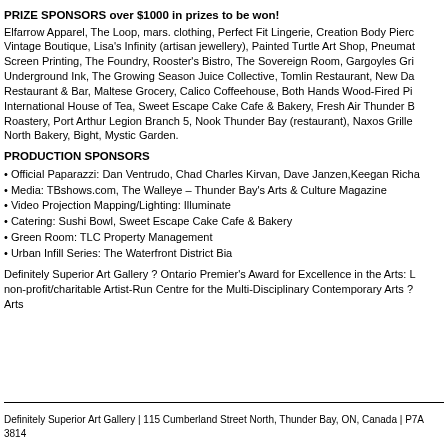PRIZE SPONSORS over $1000 in prizes to be won!
Elfarrow Apparel, The Loop, mars. clothing, Perfect Fit Lingerie, Creation Body Pierc Vintage Boutique, Lisa's Infinity (artisan jewellery), Painted Turtle Art Shop, Pneumat Screen Printing, The Foundry, Rooster's Bistro, The Sovereign Room, Gargoyles Gri Underground Ink, The Growing Season Juice Collective, Tomlin Restaurant, New Da Restaurant & Bar, Maltese Grocery, Calico Coffeehouse, Both Hands Wood-Fired Pi International House of Tea, Sweet Escape Cake Cafe & Bakery, Fresh Air Thunder B Roastery, Port Arthur Legion Branch 5, Nook Thunder Bay (restaurant), Naxos Grille North Bakery, Bight, Mystic Garden.
PRODUCTION SPONSORS
• Official Paparazzi: Dan Ventrudo, Chad Charles Kirvan, Dave Janzen,Keegan Richa
• Media: TBshows.com, The Walleye – Thunder Bay's Arts & Culture Magazine
• Video Projection Mapping/Lighting: Illuminate
• Catering: Sushi Bowl, Sweet Escape Cake Cafe & Bakery
• Green Room: TLC Property Management
• Urban Infill Series: The Waterfront District Bia
Definitely Superior Art Gallery ? Ontario Premier's Award for Excellence in the Arts: L non-profit/charitable Artist-Run Centre for the Multi-Disciplinary Contemporary Arts ? Arts
Definitely Superior Art Gallery | 115 Cumberland Street North, Thunder Bay, ON, Canada | P7A 3814